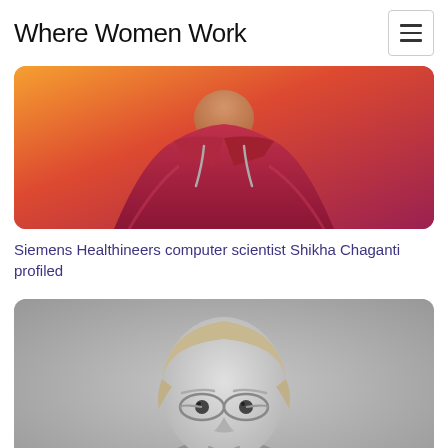Where Women Work
[Figure (photo): Photo of Shikha Chaganti wearing a pink/red puffer jacket against an orange background, cropped to show torso/neck area]
Siemens Healthineers computer scientist Shikha Chaganti profiled
[Figure (photo): Black and white photo of a woman with short blonde hair and round glasses, looking at the camera]